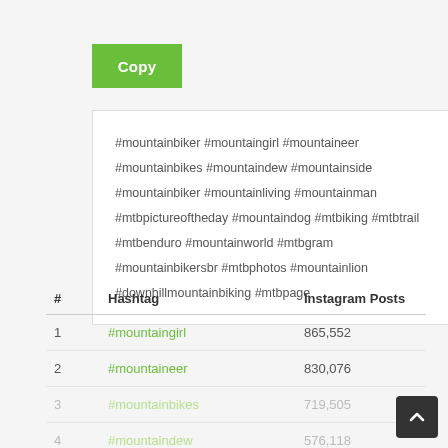Copy
#mountainbiker #mountaingirl #mountaineer #mountainbikes #mountaindew #mountainside #mountainbiker #mountainliving #mountainman #mtbpictureoftheday #mountaindog #mtbiking #mtbtrail #mtbenduro #mountainworld #mtbgram #mountainbikersbr #mtbphotos #mountainlion #downhillmountainbiking #mtbpage
| # | Hashtag | Instagram Posts |
| --- | --- | --- |
| 1 | #mountaingirl | 865,552 |
| 2 | #mountaineer | 830,076 |
| 3 | #mountainbikes | 719,505 |
| 4 | #mountaindew | 576,118 |